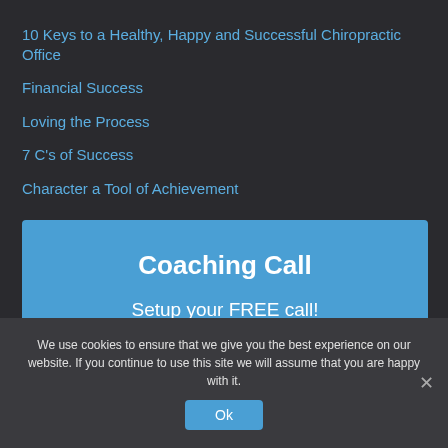10 Keys to a Healthy, Happy and Successful Chiropractic Office
Financial Success
Loving the Process
7 C's of Success
Character a Tool of Achievement
Coaching Call
Setup your FREE call!
We use cookies to ensure that we give you the best experience on our website. If you continue to use this site we will assume that you are happy with it.